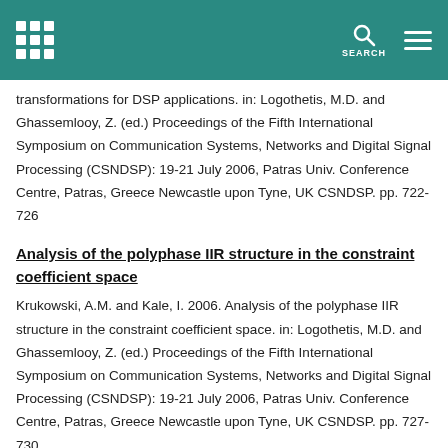transformations for DSP applications. in: Logothetis, M.D. and Ghassemlooy, Z. (ed.) Proceedings of the Fifth International Symposium on Communication Systems, Networks and Digital Signal Processing (CSNDSP): 19-21 July 2006, Patras Univ. Conference Centre, Patras, Greece Newcastle upon Tyne, UK CSNDSP. pp. 722-726
Analysis of the polyphase IIR structure in the constraint coefficient space
Krukowski, A.M. and Kale, I. 2006. Analysis of the polyphase IIR structure in the constraint coefficient space. in: Logothetis, M.D. and Ghassemlooy, Z. (ed.) Proceedings of the Fifth International Symposium on Communication Systems, Networks and Digital Signal Processing (CSNDSP): 19-21 July 2006, Patras Univ. Conference Centre, Patras, Greece Newcastle upon Tyne, UK CSNDSP. pp. 727-730
A computationally efficient DAB bit-stream